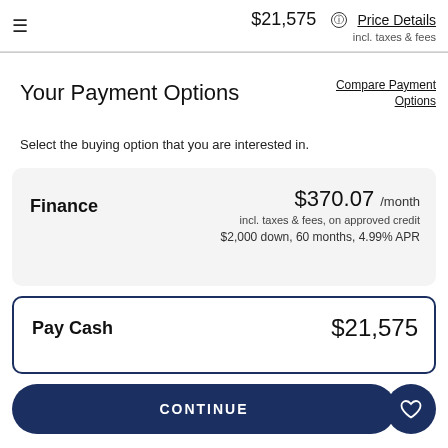$21,575 incl. taxes & fees Price Details
Your Payment Options
Compare Payment Options
Select the buying option that you are interested in.
Finance $370.07 /month incl. taxes & fees, on approved credit $2,000 down, 60 months, 4.99% APR
Pay Cash $21,575